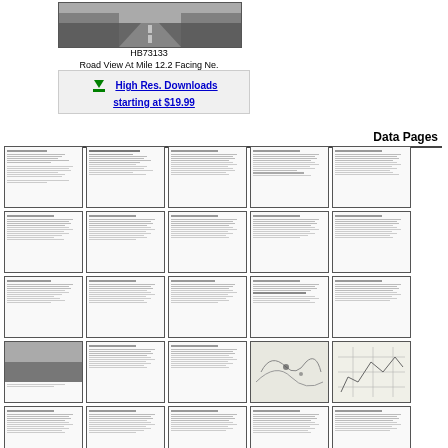[Figure (photo): Black and white road view photograph at mile 12.2 facing northeast, showing a road with trees on sides]
HB73133
Road View At Mile 12.2 Facing Ne.
High Res. Downloads starting at $19.99
Data Pages
[Figure (screenshot): Thumbnail of document page 1 - text document]
[Figure (screenshot): Thumbnail of document page 2 - text document]
[Figure (screenshot): Thumbnail of document page 3 - text document]
[Figure (screenshot): Thumbnail of document page 4 - text document]
[Figure (screenshot): Thumbnail of document page 5 - text document]
[Figure (screenshot): Thumbnail of document page 6 - text document]
[Figure (screenshot): Thumbnail of document page 7 - text document]
[Figure (screenshot): Thumbnail of document page 8 - text document]
[Figure (screenshot): Thumbnail of document page 9 - text document]
[Figure (screenshot): Thumbnail of document page 10 - text document]
[Figure (screenshot): Thumbnail of document page 11 - text document]
[Figure (screenshot): Thumbnail of document page 12 - text document]
[Figure (screenshot): Thumbnail of document page 13 - text document]
[Figure (screenshot): Thumbnail of document page 14 - text document]
[Figure (screenshot): Thumbnail of document page 15 - photo page]
[Figure (screenshot): Thumbnail of document page 16 - text document]
[Figure (screenshot): Thumbnail of document page 17 - text document]
[Figure (screenshot): Thumbnail of document page 18 - text document]
[Figure (screenshot): Thumbnail of document page 19 - map]
[Figure (screenshot): Thumbnail of document page 20 - map/diagram]
[Figure (screenshot): Thumbnail of document page 21 - text document]
[Figure (screenshot): Thumbnail of document page 22 - text document]
[Figure (screenshot): Thumbnail of document page 23 - text document]
[Figure (screenshot): Thumbnail of document page 24 - text document]
[Figure (screenshot): Thumbnail of document page 25 - text document]
[Figure (screenshot): Thumbnail of document page 26 - text document]
[Figure (screenshot): Thumbnail of document page 27 - text document]
[Figure (screenshot): Thumbnail of document page 28 - text document]
[Figure (screenshot): Thumbnail of document page 29 - text document]
[Figure (screenshot): Thumbnail of document page 30 - text document]